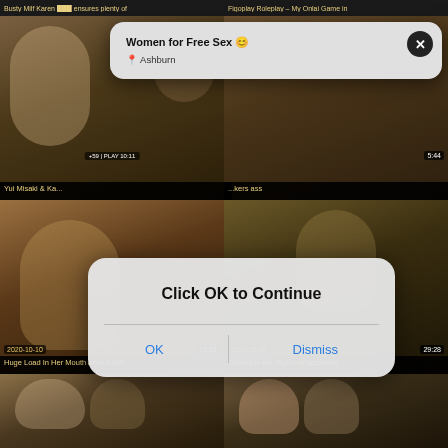Busty Milf Karen ... ensures plenty of | Figoplay Roleplay - My Onlai Game in
[Figure (screenshot): Video thumbnail grid showing adult content website with blurred thumbnails, timestamps showing 2020-10-10, durations 5:44, 12:54, 29:28]
Yui Misaki & Ka...
...kers ass
Huge Load In Her Mouth After A Hot
Creampie my 48yo milf stepmom
[Figure (screenshot): Notification popup: Women for Free Sex 😊 | Ashburn, with X close button]
[Figure (screenshot): Dialog popup: Click OK to Continue, with OK and Dismiss buttons]